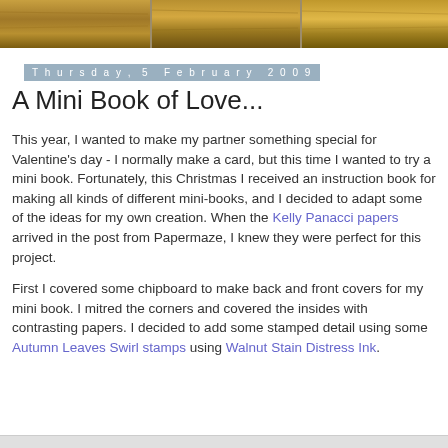[Figure (photo): Wood plank header banner image with brown wooden texture]
Thursday, 5 February 2009
A Mini Book of Love...
This year, I wanted to make my partner something special for Valentine's day - I normally make a card, but this time I wanted to try a mini book. Fortunately, this Christmas I received an instruction book for making all kinds of different mini-books, and I decided to adapt some of the ideas for my own creation. When the Kelly Panacci papers arrived in the post from Papermaze, I knew they were perfect for this project.
First I covered some chipboard to make back and front covers for my mini book. I mitred the corners and covered the insides with contrasting papers. I decided to add some stamped detail using some Autumn Leaves Swirl stamps using Walnut Stain Distress Ink.